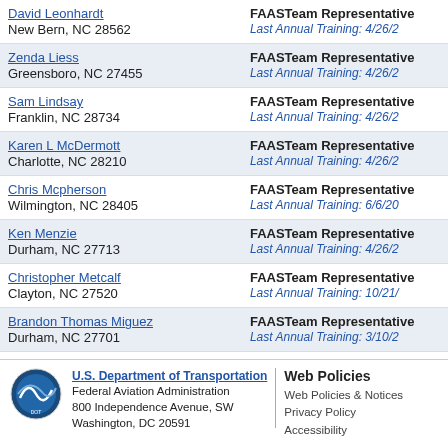David Leonhardt
New Bern, NC 28562
FAASTeam Representative
Last Annual Training: 4/26/2...
Zenda Liess
Greensboro, NC 27455
FAASTeam Representative
Last Annual Training: 4/26/2...
Sam Lindsay
Franklin, NC 28734
FAASTeam Representative
Last Annual Training: 4/26/2...
Karen L McDermott
Charlotte, NC 28210
FAASTeam Representative
Last Annual Training: 4/26/2...
Chris Mcpherson
Wilmington, NC 28405
FAASTeam Representative
Last Annual Training: 6/6/20...
Ken Menzie
Durham, NC 27713
FAASTeam Representative
Last Annual Training: 4/26/2...
Christopher Metcalf
Clayton, NC 27520
FAASTeam Representative
Last Annual Training: 10/21/...
Brandon Thomas Miguez
Durham, NC 27701
FAASTeam Representative
Last Annual Training: 3/10/2...
Ryan Montague
Spruce Pine, NC 28777
FAASTeam Representative
Last Annual Training: 4/26/2...
Randy Myers
Newport, NC 28570
FAASTeam Representative
Last Annual Training: 11/17/...
1 2
U.S. Department of Transportation
Federal Aviation Administration
800 Independence Avenue, SW
Washington, DC 20591
Web Policies
Web Policies & Notices
Privacy Policy
Accessibility